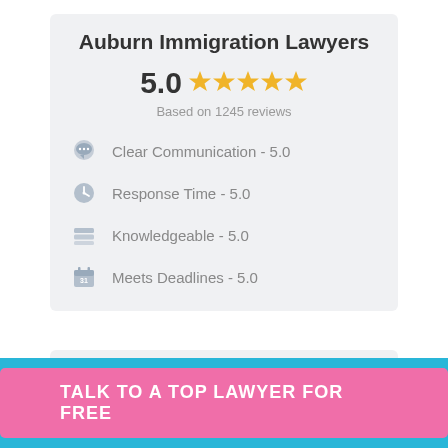Auburn Immigration Lawyers
5.0 ★★★★★
Based on 1245 reviews
Clear Communication - 5.0
Response Time - 5.0
Knowledgeable - 5.0
Meets Deadlines - 5.0
UpCounsel is a secure service for your business legal needs
TALK TO A TOP LAWYER FOR FREE